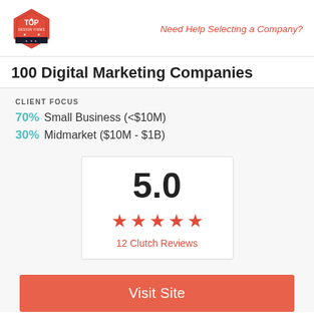[Figure (logo): Top Design Firms red hexagon badge logo]
Need Help Selecting a Company?
100 Digital Marketing Companies
CLIENT FOCUS
70% Small Business (<$10M)
30% Midmarket ($10M - $1B)
[Figure (infographic): Rating box showing 5.0 score with 5 red stars and 12 Clutch Reviews]
Visit Site